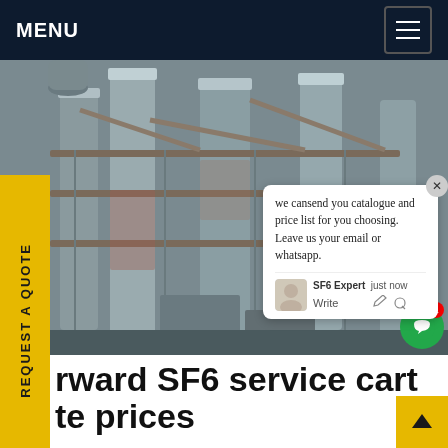MENU
[Figure (photo): Industrial facility showing large metal distillation columns, pipes, and scaffolding in a factory setting.]
REQUEST A QUOTE
we cansend you catalogue and price list for you choosing. Leave us your email or whatsapp.
SF6 Expert   just now
Write
rward SF6 service cart
te prices
PO Boxes How to Reserve, Renew, or Manage a PO Box . Whether it's for business or personal use, U offers a range of PO Box ™ sizes to hold your mail and